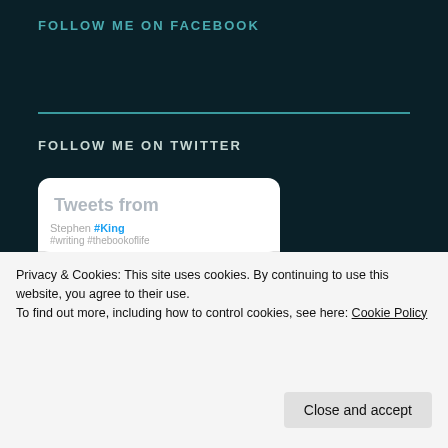FOLLOW ME ON FACEBOOK
FOLLOW ME ON TWITTER
[Figure (screenshot): Twitter widget showing tweets from @jjbwordslinger, with a retweet by JJ Brown Wordslinger and a tweet row showing Novelicious with a Twitter bird icon]
Privacy & Cookies: This site uses cookies. By continuing to use this website, you agree to their use.
To find out more, including how to control cookies, see here: Cookie Policy
Close and accept